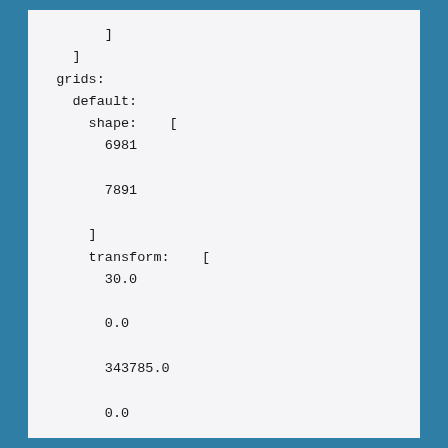]
    ]
  grids:
    default:
      shape:    [
        6981
        7891
      ]
      transform:    [
        30.0
        0.0
        343785.0
        0.0
        -30.0
        -2291985.0
        0.0
        0.0
        1.0
      ]